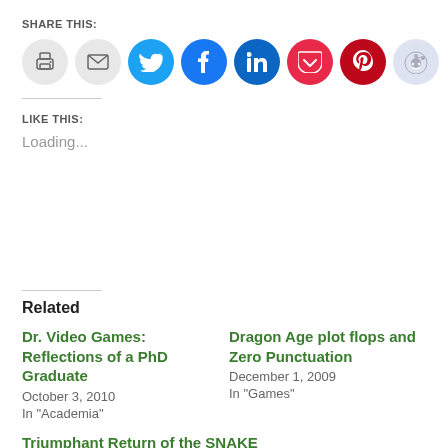SHARE THIS:
[Figure (infographic): Row of social share icon buttons: print (gray), email (gray), Twitter (blue), Facebook (blue), LinkedIn (dark teal), Pocket (red-pink), Pinterest (dark red), Reddit (light blue-gray)]
LIKE THIS:
Loading...
Related
Dr. Video Games: Reflections of a PhD Graduate
October 3, 2010
In "Academia"
Dragon Age plot flops and Zero Punctuation
December 1, 2009
In "Games"
Triumphant Return of the SNAKE
March 6, 2003